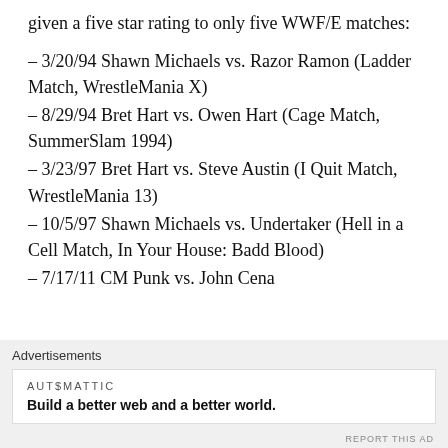given a five star rating to only five WWF/E matches:
– 3/20/94 Shawn Michaels vs. Razor Ramon (Ladder Match, WrestleMania X)
– 8/29/94 Bret Hart vs. Owen Hart (Cage Match, SummerSlam 1994)
– 3/23/97 Bret Hart vs. Steve Austin (I Quit Match, WrestleMania 13)
– 10/5/97 Shawn Michaels vs. Undertaker (Hell in a Cell Match, In Your House: Badd Blood)
– 7/17/11 CM Punk vs. John Cena
Advertisements
AUTOMATTIC
Build a better web and a better world.